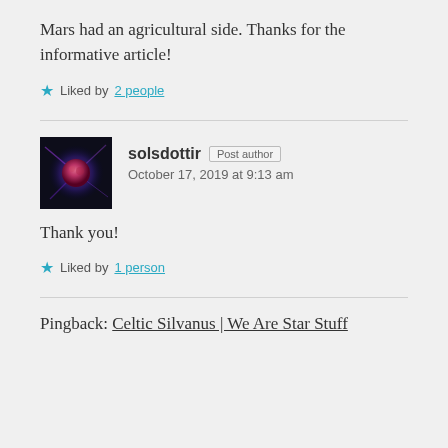Mars had an agricultural side. Thanks for the informative article!
★ Liked by 2 people
solsdottir  Post author
October 17, 2019 at 9:13 am
Thank you!
★ Liked by 1 person
Pingback: Celtic Silvanus | We Are Star Stuff